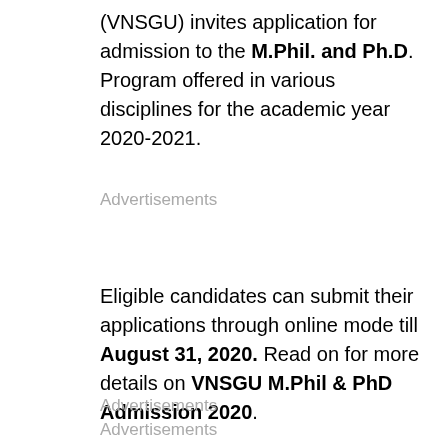(VNSGU) invites application for admission to the M.Phil. and Ph.D. Program offered in various disciplines for the academic year 2020-2021.
Advertisements
Eligible candidates can submit their applications through online mode till August 31, 2020. Read on for more details on VNSGU M.Phil & PhD Admission 2020.
Advertisements
Advertisements